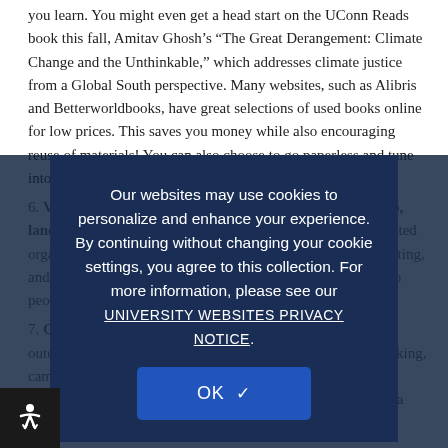you learn. You might even get a head start on the UConn Reads book this fall, Amitav Ghosh’s “The Great Derangement: Climate Change and the Unthinkable,” which addresses climate justice from a Global South perspective. Many websites, such as Alibris and Betterworldbooks, have great selections of used books online for low prices. This saves you money while also encouraging reuse of materials! You can also choose to go paperless and tune into TV shows, YouTube videos, movie
6. Volunteer with a local forestry initiative, coastal cleanup, land trust, watershed group, or other environmentally-oriented organization. Many groups are doing weeding, watering, planting, and more to be a valuable community initiative and support to people in need and also the local environment.
7. Get outside! Now is the perfect time to explore the great outdoors. There is plenty of room for social distancing. Go hiking, camping, biking, kayaking, boating, fishing, swimming, picnicking or gardening. Travel to new places nearby or visit a local
Our websites may use cookies to personalize and enhance your experience. By continuing without changing your cookie settings, you agree to this collection. For more information, please see our UNIVERSITY WEBSITES PRIVACY NOTICE.
OK ✓